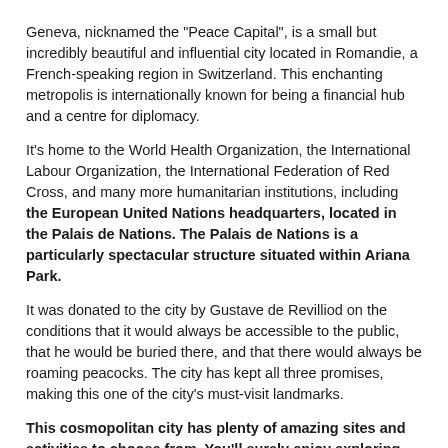Geneva, nicknamed the "Peace Capital", is a small but incredibly beautiful and influential city located in Romandie, a French-speaking region in Switzerland. This enchanting metropolis is internationally known for being a financial hub and a centre for diplomacy.
It's home to the World Health Organization, the International Labour Organization, the International Federation of Red Cross, and many more humanitarian institutions, including the European United Nations headquarters, located in the Palais de Nations. The Palais de Nations is a particularly spectacular structure situated within Ariana Park.
It was donated to the city by Gustave de Revilliod on the conditions that it would always be accessible to the public, that he would be buried there, and that there would always be roaming peacocks. The city has kept all three promises, making this one of the city's must-visit landmarks.
This cosmopolitan city has plenty of amazing sites and activities to choose from. You'll surely enjoy exploring Geneva's Old Town, which includes the Cathédrale Saint-Pierre and the pretty pedestrian Place du Bourg-de-Four. Here you'll find beautiful shops alongside numerous restaurants and cafés, where you can enjoy Swiss...